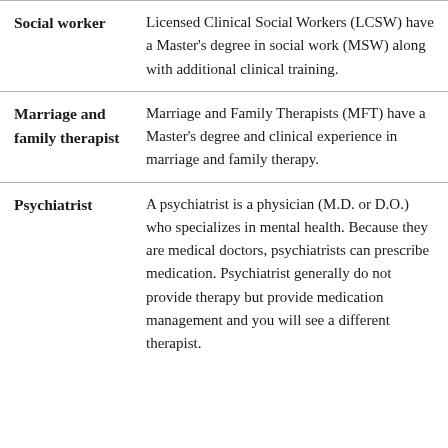| Social worker | Licensed Clinical Social Workers (LCSW) have a Master's degree in social work (MSW) along with additional clinical training. |
| Marriage and family therapist | Marriage and Family Therapists (MFT) have a Master's degree and clinical experience in marriage and family therapy. |
| Psychiatrist | A psychiatrist is a physician (M.D. or D.O.) who specializes in mental health. Because they are medical doctors, psychiatrists can prescribe medication. Psychiatrist generally do not provide therapy but provide medication management and you will see a different therapist. |